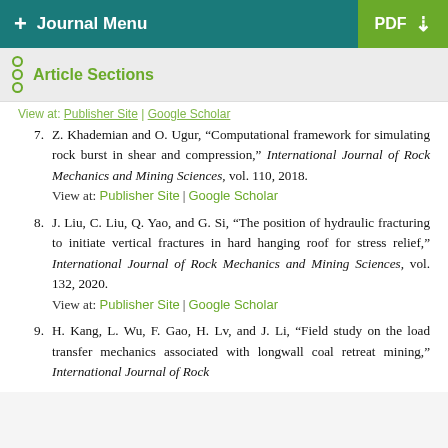+ Journal Menu | PDF ↓
Article Sections
View at: Publisher Site | Google Scholar
7. Z. Khademian and O. Ugur, "Computational framework for simulating rock burst in shear and compression," International Journal of Rock Mechanics and Mining Sciences, vol. 110, 2018.
View at: Publisher Site | Google Scholar
8. J. Liu, C. Liu, Q. Yao, and G. Si, "The position of hydraulic fracturing to initiate vertical fractures in hard hanging roof for stress relief," International Journal of Rock Mechanics and Mining Sciences, vol. 132, 2020.
View at: Publisher Site | Google Scholar
9. H. Kang, L. Wu, F. Gao, H. Lv, and J. Li, "Field study on the load transfer mechanics associated with longwall coal retreat mining," International Journal of Rock